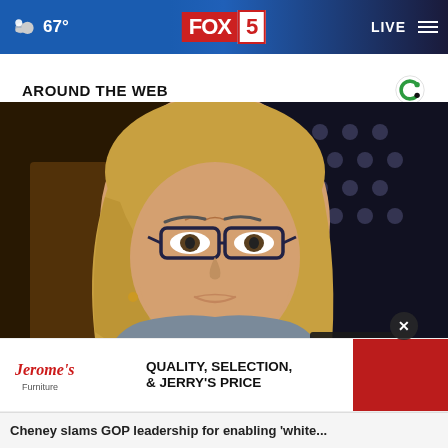FOX 5 — 67° — LIVE
AROUND THE WEB
[Figure (photo): Woman with blonde hair and dark-rimmed glasses looking serious, seated at what appears to be a congressional hearing. An American flag is visible in the background.]
[Figure (other): Jerome's Furniture advertisement: QUALITY, SELECTION, & JERRY'S PRICE]
Cheney slams GOP leadership for enabling 'white...